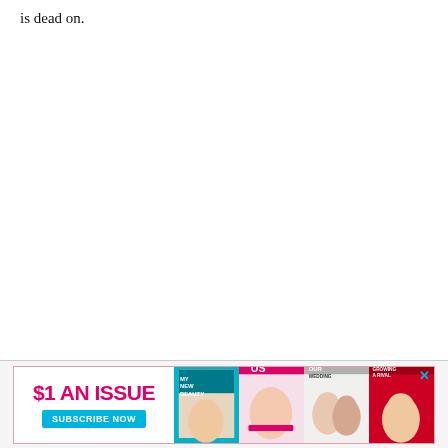is dead on.
[Figure (other): Advertisement banner: '$1 AN ISSUE — SUBSCRIBE NOW' with magazine cover images (Us Weekly style covers with people/celebrities). Pink/magenta and cyan color scheme. Close button (X) in top right.]